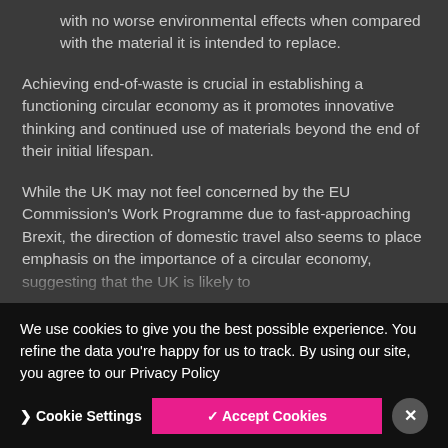with no worse environmental effects when compared with the material it is intended to replace.
Achieving end-of-waste is crucial in establishing a functioning circular economy as it promotes innovative thinking and continued use of materials beyond the end of their initial lifespan.
While the UK may not feel concerned by the EU Commission's Work Programme due to fast-approaching Brexit, the direction of domestic travel also seems to place emphasis on the importance of a circular economy, suggesting that the UK is likely to
We use cookies to give you the best possible experience. You refine the data you're happy for us to track. By using our site, you agree to our Privacy Policy